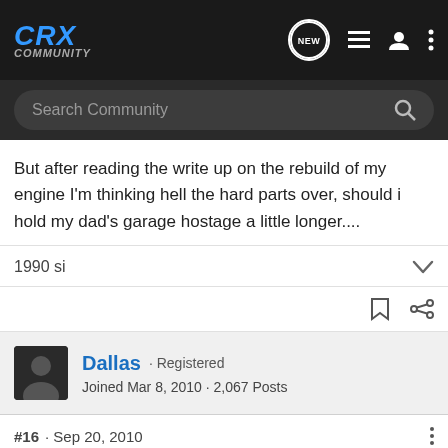CRX Community
But after reading the write up on the rebuild of my engine I'm thinking hell the hard parts over, should i hold my dad's garage hostage a little longer....
1990 si
Dallas · Registered
Joined Mar 8, 2010 · 2,067 Posts
#16 · Sep 20, 2010
We were archiving with the latest content to reload the